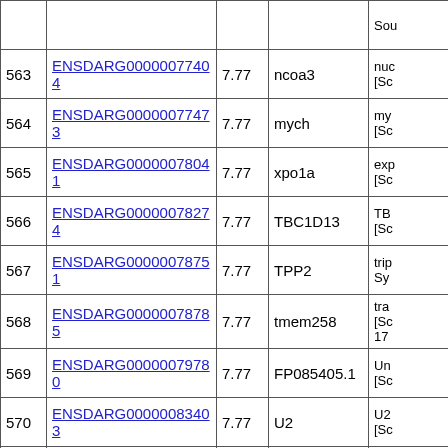| # | Gene ID | Score | Name | Description |
| --- | --- | --- | --- | --- |
| 563 | ENSDARG00000077404 | 7.77 | ncoa3 | nuc [Sc |
| 564 | ENSDARG00000077473 | 7.77 | mych | my [Sc |
| 565 | ENSDARG00000078041 | 7.77 | xpo1a | exp [Sc |
| 566 | ENSDARG00000078274 | 7.77 | TBC1D13 | TB [Sc |
| 567 | ENSDARG00000078751 | 7.77 | TPP2 | trip Sy |
| 568 | ENSDARG00000078785 | 7.77 | tmem258 | tra [Sc 17 |
| 569 | ENSDARG00000079780 | 7.77 | FP085405.1 | Un [Sc |
| 570 | ENSDARG00000083403 | 7.77 | U2 | U2 [Sc |
| 571 | ENSDARG00000086791 | 7.77 | si:ch211-209n20.57 | si: GE |
| 572 | ENSDARG00000086907 | 7.77 | NCBP1 (1 of 2) | nuc [Sc |